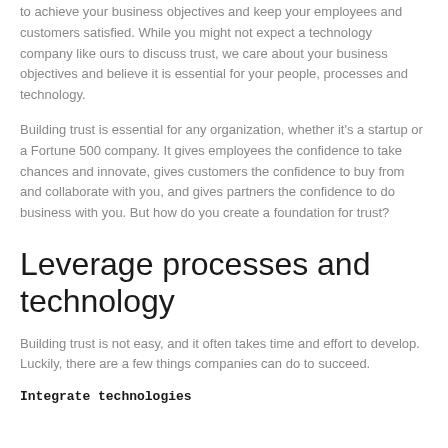to achieve your business objectives and keep your employees and customers satisfied. While you might not expect a technology company like ours to discuss trust, we care about your business objectives and believe it is essential for your people, processes and technology.
Building trust is essential for any organization, whether it's a startup or a Fortune 500 company. It gives employees the confidence to take chances and innovate, gives customers the confidence to buy from and collaborate with you, and gives partners the confidence to do business with you. But how do you create a foundation for trust?
Leverage processes and technology
Building trust is not easy, and it often takes time and effort to develop. Luckily, there are a few things companies can do to succeed.
Integrate technologies